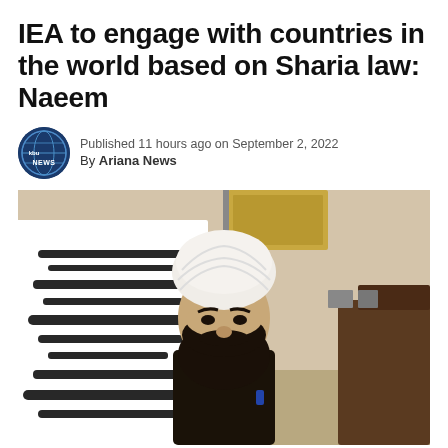IEA to engage with countries in the world based on Sharia law: Naeem
Published 11 hours ago on September 2, 2022
By Ariana News
[Figure (photo): A man wearing a white turban and dark vest stands in front of a black and white flag with Arabic script, in an official-looking indoor setting.]
(Last Updated On: September 2, 2022)